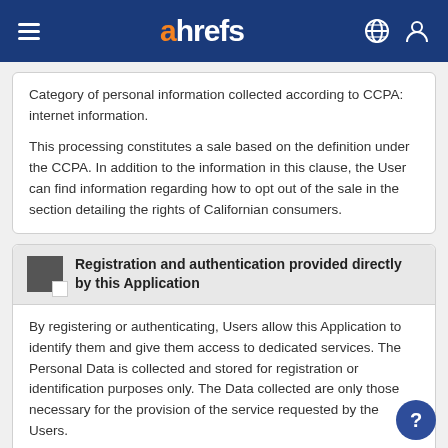ahrefs
Category of personal information collected according to CCPA: internet information.
This processing constitutes a sale based on the definition under the CCPA. In addition to the information in this clause, the User can find information regarding how to opt out of the sale in the section detailing the rights of Californian consumers.
Registration and authentication provided directly by this Application
By registering or authenticating, Users allow this Application to identify them and give them access to dedicated services. The Personal Data is collected and stored for registration or identification purposes only. The Data collected are only those necessary for the provision of the service requested by the Users.
Direct registration (This Application)